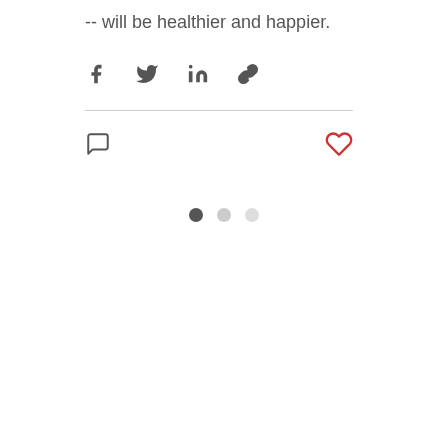-- will be healthier and happier.
[Figure (screenshot): Social share icons: Facebook, Twitter, LinkedIn, link copy]
[Figure (screenshot): Comment icon (left) and heart/like icon (right, red outline)]
[Figure (screenshot): Three pagination dots: first filled dark, second and third lighter]